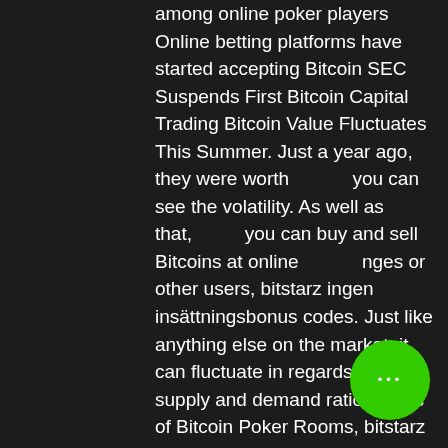among online poker players Online betting platforms have started accepting Bitcoin SEC Suspends First Bitcoin Capital Trading Bitcoin Value Fluctuates This Summer. Just a year ago, they were worth $1,000 you can see the volatility. As well as that, you can buy and sell Bitcoins at online exchanges or other users, bitstarz ingen insättningsbonus codes. Just like anything else on the market, it can fluctuate in regards to its supply and demand ratio. Types of Bitcoin Poker Rooms, bitstarz ingen innskuddsbonus code. Best Bitcoin Poker gathers all the sites offering Bitcoin poker regardless of popularity. Every feature and highlight they offer are examined and analyzed to find out if they are reliable or not, bitstarz ingen insättningsbonus 2021. What You Need to Know About Bitcoin, bitstarz ingen insättningsbonus 20 бесплатные вращения. Before we delve into the reviews themselves, let's go over some basic
[Figure (other): A MENU overlay button with white/cream background, showing 'ME NU' in red bold letters arranged in two rows]
[Figure (other): A green circular button with three white dots (ellipsis) in the center, positioned bottom right]